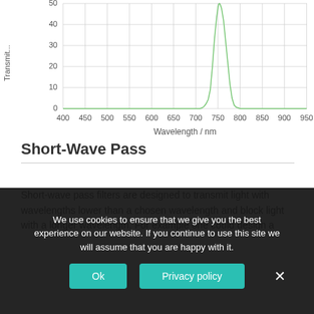[Figure (continuous-plot): Transmission spectrum chart showing a sharp peak near 720-730nm. Y-axis labeled 'Transmit...' (Transmittance) with values 0, 10, 20, 30, 40, 50. X-axis shows Wavelength / nm from 400 to 950. A green line spikes sharply upward around 720nm reaching ~50, then drops back to near 0.]
Short-Wave Pass
Short-wave pass filters are designed to transmit light with wavelengths lower than a chosen wavelength and block light with a longer wavelength. For example one could design a
We use cookies to ensure that we give you the best experience on our website. If you continue to use this site we will assume that you are happy with it.